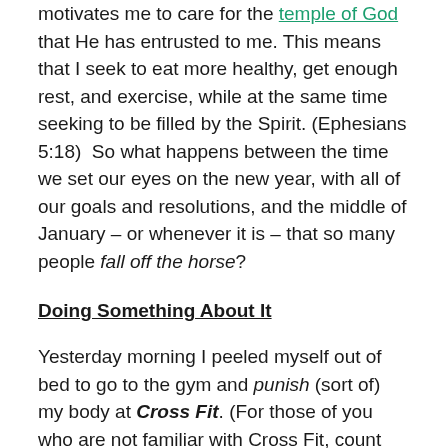motivates me to care for the temple of God that He has entrusted to me. This means that I seek to eat more healthy, get enough rest, and exercise, while at the same time seeking to be filled by the Spirit. (Ephesians 5:18)  So what happens between the time we set our eyes on the new year, with all of our goals and resolutions, and the middle of January – or whenever it is – that so many people fall off the horse?
Doing Something About It
Yesterday morning I peeled myself out of bed to go to the gym and punish (sort of) my body at Cross Fit. (For those of you who are not familiar with Cross Fit, count your blessings.) What I did not know was that my coach had prepared the hardest workout I have ever experienced! At first glance it looked pretty simple but he kept telling us "it would be hard"! (Quite possibly the understatement of the century.) The first 10